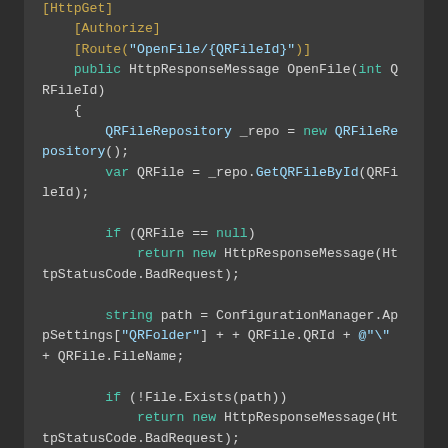[Figure (screenshot): Dark-themed code editor screenshot showing C# ASP.NET Web API code for an OpenFile HTTP GET endpoint with authorization, route attribute, repository pattern, null check, and file existence check.]